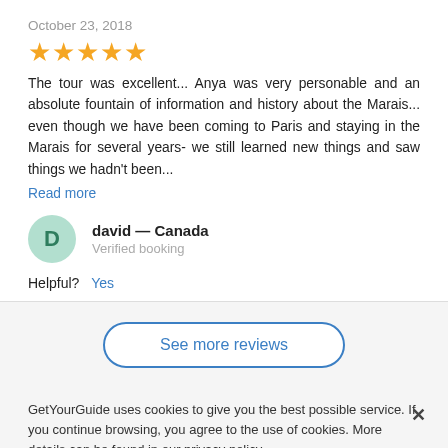October 23, 2018
[Figure (other): 5 gold star rating icons]
The tour was excellent... Anya was very personable and an absolute fountain of information and history about the Marais... even though we have been coming to Paris and staying in the Marais for several years- we still learned new things and saw things we hadn't been...
Read more
david — Canada
Verified booking
Helpful?  Yes
See more reviews
GetYourGuide uses cookies to give you the best possible service. If you continue browsing, you agree to the use of cookies. More details can be found in our privacy policy.